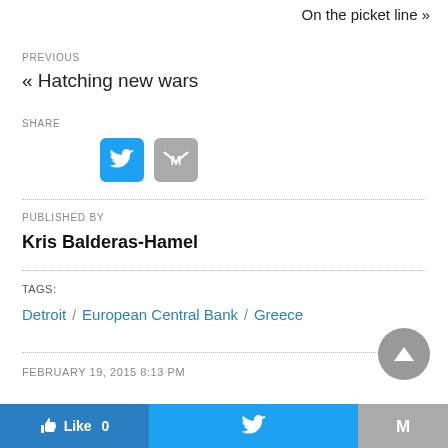On the picket line »
PREVIOUS
« Hatching new wars
SHARE
[Figure (illustration): Twitter share button (blue rounded square with bird icon) and Gmail/email share button (gray rounded square with M icon)]
PUBLISHED BY
Kris Balderas-Hamel
TAGS:
Detroit / European Central Bank / Greece
FEBRUARY 19, 2015 8:13 PM
[Figure (illustration): Bottom toolbar with Like 0 button (blue), Twitter share button (blue), and Gmail share button (gray)]